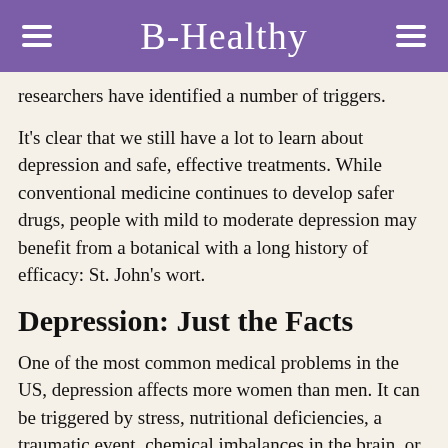B-Healthy
researchers have identified a number of triggers.
It's clear that we still have a lot to learn about depression and safe, effective treatments. While conventional medicine continues to develop safer drugs, people with mild to moderate depression may benefit from a botanical with a long history of efficacy: St. John's wort.
Depression: Just the Facts
One of the most common medical problems in the US, depression affects more women than men. It can be triggered by stress, nutritional deficiencies, a traumatic event, chemical imbalances in the brain, or even food allergies.